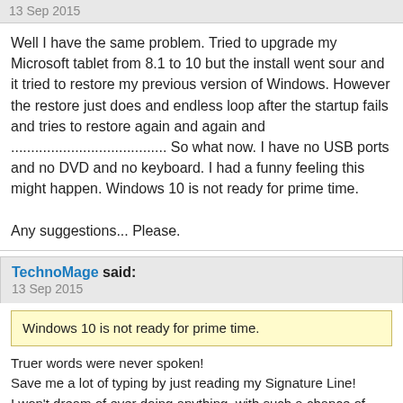13 Sep 2015
Well I have the same problem. Tried to upgrade my Microsoft tablet from 8.1 to 10 but the install went sour and it tried to restore my previous version of Windows. However the restore just does and endless loop after the startup fails and tries to restore again and again and ....................................... So what now. I have no USB ports and no DVD and no keyboard. I had a funny feeling this might happen. Windows 10 is not ready for prime time.

Any suggestions... Please.
TechnoMage said:
13 Sep 2015
Windows 10 is not ready for prime time.
Truer words were never spoken!
Save me a lot of typing by just reading my Signature Line!
I won't dream of ever doing anything, with such a chance of disaster, as allowing a new OS to overwrite my Main OS.